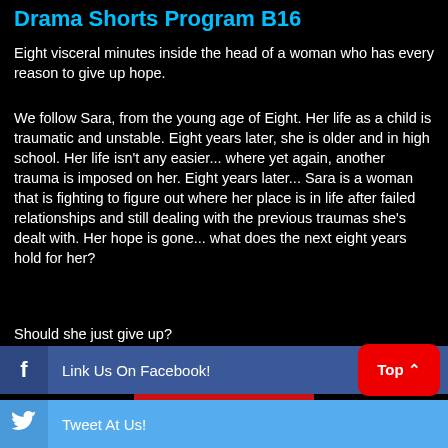Drama Shorts Program B16
Eight visceral minutes inside the head of a woman who has every reason to give up hope.
We follow Sara, from the young age of Eight. Her life as a child is traumatic and unstable. Eight years later, she is older and in high school. Her life isn't any easier... where yet again, another trauma is imposed on her. Eight years later... Sara is a woman that is fighting to figure out where her place is in life after failed relationships and still dealing with the previous traumas she's dealt with. Her hope is gone... what does the next eight years hold for her?
Should she just give up?
WORLD PREMIERE
[Figure (other): Red BUY TICKETS button with CLICK HERE text below]
Link Us On Facebook!
Tweet At Us!